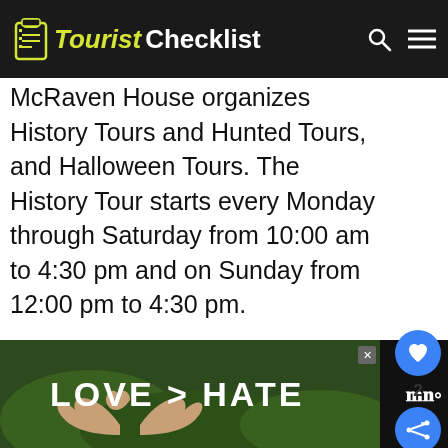Tourist Checklist
McRaven House organizes History Tours and Hunted Tours, and Halloween Tours. The History Tour starts every Monday through Saturday from 10:00 am to 4:30 pm and on Sunday from 12:00 pm to 4:30 pm.
Explore the McRaven House on a guided tour as the tour guides are friendly and knowledgeable, plus the tour is educative, exciting, and entertaining.
[Figure (screenshot): WHAT'S NEXT arrow, 23 Best & Fun Things to D... with thumbnail image]
[Figure (photo): Advertisement banner: hands forming heart shape, text LOVE > HATE]
LOVE > HATE advertisement banner